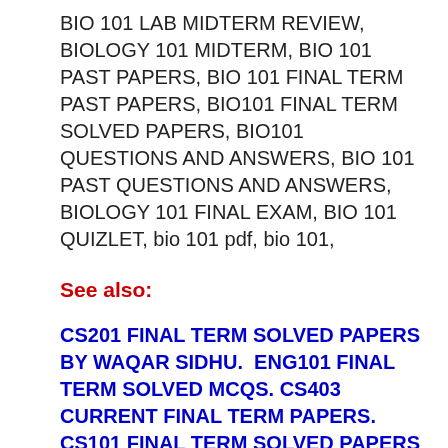BIO 101 LAB MIDTERM REVIEW, BIOLOGY 101 MIDTERM, BIO 101 PAST PAPERS, BIO 101 FINAL TERM PAST PAPERS, BIO101 FINAL TERM SOLVED PAPERS, BIO101 QUESTIONS AND ANSWERS, BIO 101 PAST QUESTIONS AND ANSWERS, BIOLOGY 101 FINAL EXAM, BIO 101 QUIZLET, bio 101 pdf, bio 101,
See also:
CS201 FINAL TERM SOLVED PAPERS BY WAQAR SIDHU.  ENG101 FINAL TERM SOLVED MCQS. CS403 CURRENT FINAL TERM PAPERS. CS101 FINAL TERM SOLVED PAPERS BY MOAAZ MEGA FILE. CS201 FINAL TERM